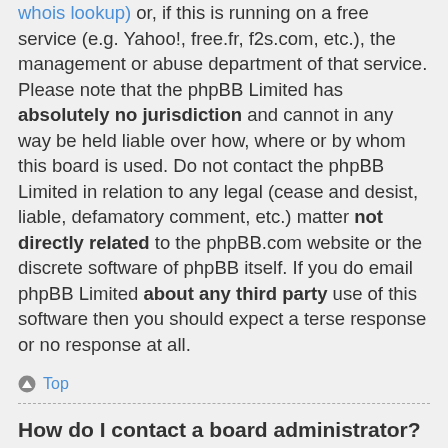whois lookup) or, if this is running on a free service (e.g. Yahoo!, free.fr, f2s.com, etc.), the management or abuse department of that service. Please note that the phpBB Limited has absolutely no jurisdiction and cannot in any way be held liable over how, where or by whom this board is used. Do not contact the phpBB Limited in relation to any legal (cease and desist, liable, defamatory comment, etc.) matter not directly related to the phpBB.com website or the discrete software of phpBB itself. If you do email phpBB Limited about any third party use of this software then you should expect a terse response or no response at all.
Top
How do I contact a board administrator?